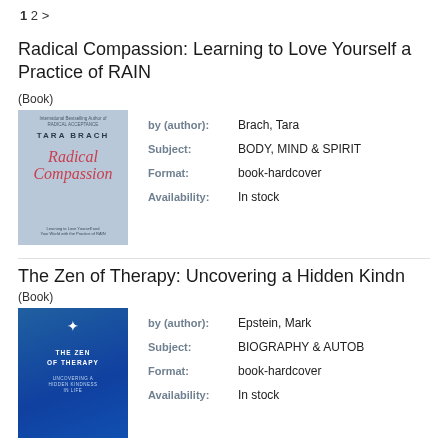1 2 >
Radical Compassion: Learning to Love Yourself and Your World with the Practice of RAIN
(Book)
[Figure (illustration): Book cover of Radical Compassion by Tara Brach, light blue-grey background with red italic script title]
by (author): Brach, Tara
Subject: BODY, MIND & SPIRIT
Format: book-hardcover
Availability: In stock
The Zen of Therapy: Uncovering a Hidden Kindness in Life
(Book)
[Figure (illustration): Book cover of The Zen of Therapy by Mark Epstein, dark blue background with white bird and white text]
by (author): Epstein, Mark
Subject: BIOGRAPHY & AUTOBIOGRAPHY
Format: book-hardcover
Availability: In stock